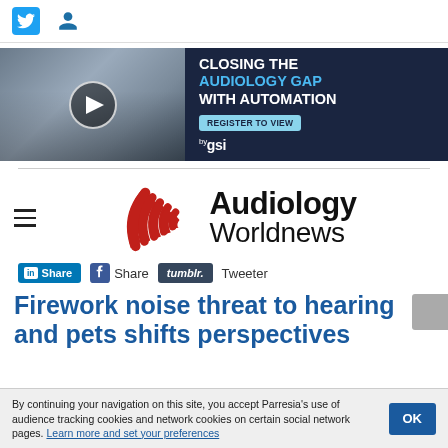Twitter icon | User icon
[Figure (screenshot): Advertisement banner: video thumbnail of two men seated in conversation with a play button overlay on the left, and on the right a dark navy background with text 'CLOSING THE AUDIOLOGY GAP WITH AUTOMATION', a 'REGISTER TO VIEW' button, and GSI logo]
[Figure (logo): Audiology Worldnews logo: red curved signal/wave icon on the left, bold 'Audiology Worldnews' text on the right]
in Share | f Share | tumblr. | Tweeter
Firework noise threat to hearing and pets shifts perspectives
By continuing your navigation on this site, you accept Parresia's use of audience tracking cookies and network cookies on certain social network pages. Learn more and set your preferences